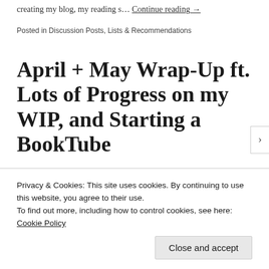creating my blog, my reading s… Continue reading →
Posted in Discussion Posts, Lists & Recommendations
April + May Wrap-Up ft. Lots of Progress on my WIP, and Starting a BookTube
Privacy & Cookies: This site uses cookies. By continuing to use this website, you agree to their use. To find out more, including how to control cookies, see here: Cookie Policy
Close and accept